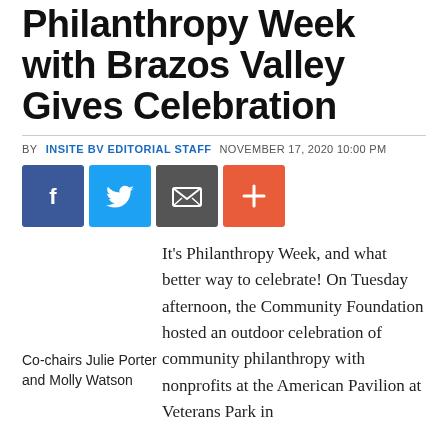...celebrates Philanthropy Week with Brazos Valley Gives Celebration
BY INSITE BV EDITORIAL STAFF   NOVEMBER 17, 2020 10:00 PM
[Figure (other): Social media share buttons: Facebook (blue), Twitter (light blue), Email (gray), Plus/More (orange-red)]
Co-chairs Julie Porter and Molly Watson
It's Philanthropy Week, and what better way to celebrate! On Tuesday afternoon, the Community Foundation hosted an outdoor celebration of community philanthropy with nonprofits at the American Pavilion at Veterans Park in